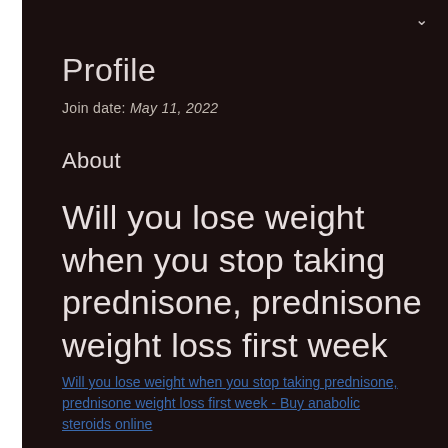Profile
Join date: May 11, 2022
About
Will you lose weight when you stop taking prednisone, prednisone weight loss first week
Will you lose weight when you stop taking prednisone, prednisone weight loss first week - Buy anabolic steroids online